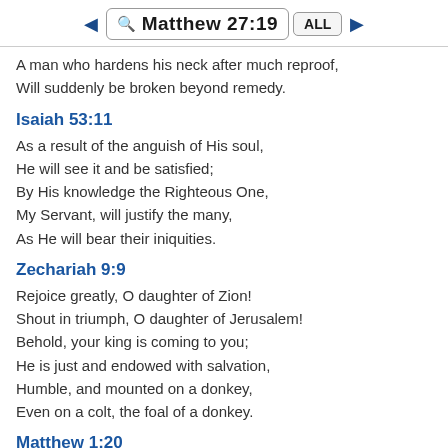Matthew 27:19
A man who hardens his neck after much reproof,
Will suddenly be broken beyond remedy.
Isaiah 53:11
As a result of the anguish of His soul,
He will see it and be satisfied;
By His knowledge the Righteous One,
My Servant, will justify the many,
As He will bear their iniquities.
Zechariah 9:9
Rejoice greatly, O daughter of Zion!
Shout in triumph, O daughter of Jerusalem!
Behold, your king is coming to you;
He is just and endowed with salvation,
Humble, and mounted on a donkey,
Even on a colt, the foal of a donkey.
Matthew 1:20
But when he had considered this, behold, an angel of